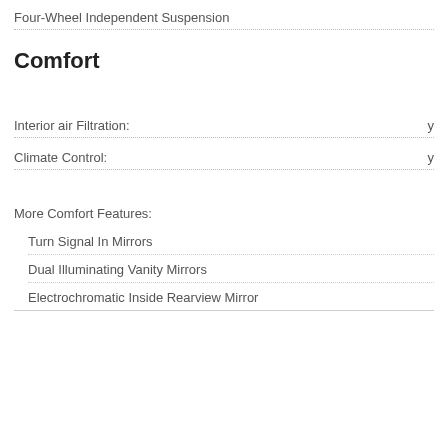Four-Wheel Independent Suspension
Comfort
Interior air Filtration: y
Climate Control: y
More Comfort Features:
Turn Signal In Mirrors
Dual Illuminating Vanity Mirrors
Electrochromatic Inside Rearview Mirror